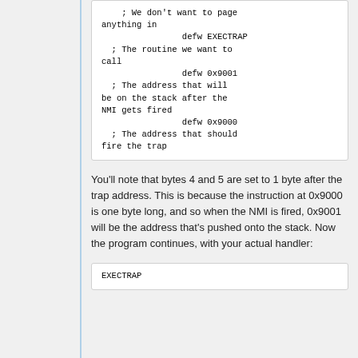[Figure (screenshot): Code block showing assembly-like code with defw directives and comments about EXECTRAP, 0x9001, and 0x9000 addresses]
You'll note that bytes 4 and 5 are set to 1 byte after the trap address. This is because the instruction at 0x9000 is one byte long, and so when the NMI is fired, 0x9001 will be the address that's pushed onto the stack. Now the program continues, with your actual handler:
[Figure (screenshot): Code block showing EXECTRAP label at the start of assembly code]